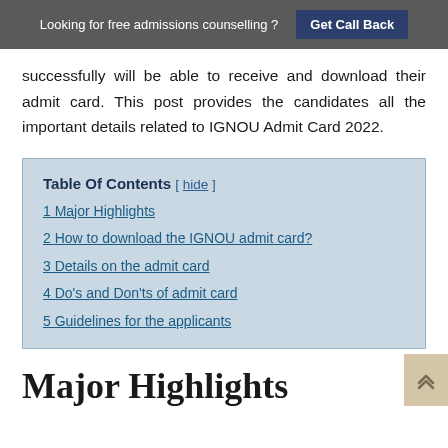Looking for free admissions counselling ? Get Call Back
successfully will be able to receive and download their admit card. This post provides the candidates all the important details related to IGNOU Admit Card 2022.
| Table Of Contents |
| --- |
| 1 Major Highlights |
| 2 How to download the IGNOU admit card? |
| 3 Details on the admit card |
| 4 Do's and Don'ts of admit card |
| 5 Guidelines for the applicants |
Major Highlights